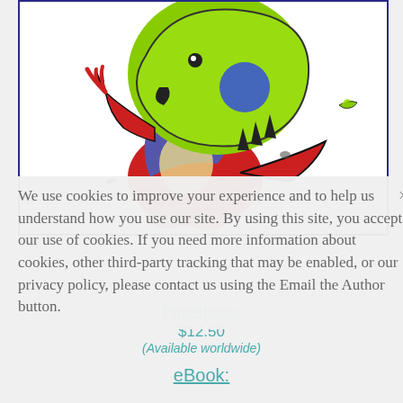[Figure (illustration): Colorful cartoon dragon illustration with green head/hat, purple body/wings, red arms and lower body, standing on pink feet. A small green shape appears to the right.]
We use cookies to improve your experience and to help us understand how you use our site. By using this site, you accept our use of cookies. If you need more information about cookies, other third-party tracking that may be enabled, or our privacy policy, please contact us using the Email the Author button.
Paperback:
$12.50
(Available worldwide)
eBook: